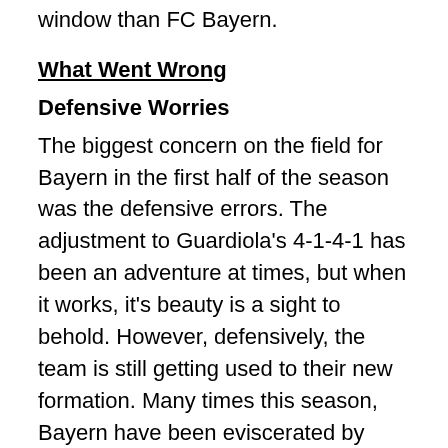window than FC Bayern.
What Went Wrong
Defensive Worries
The biggest concern on the field for Bayern in the first half of the season was the defensive errors. The adjustment to Guardiola's 4-1-4-1 has been an adventure at times, but when it works, it's beauty is a sight to behold. However, defensively, the team is still getting used to their new formation. Many times this season, Bayern have been eviscerated by opponents on the counterattack. Luckily, Manuel Neuer is one of if not the best goal goalkeepers in the game today and has come through many times to keep the opposition out of the goal. In Europe's four big leagues (Bundesliga, La Liga, Premier League, Serie A), only Italy's AS Roma has conceded fewer goals. The goals